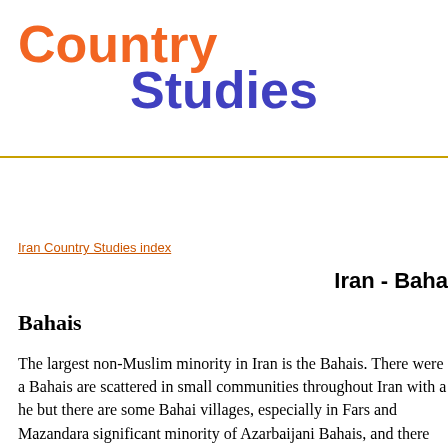Country Studies
Iran Country Studies index
Iran - Baha
Bahais
The largest non-Muslim minority in Iran is the Bahais. There were a Bahais are scattered in small communities throughout Iran with a he but there are some Bahai villages, especially in Fars and Mazandara significant minority of Azarbaijani Bahais, and there are even a few